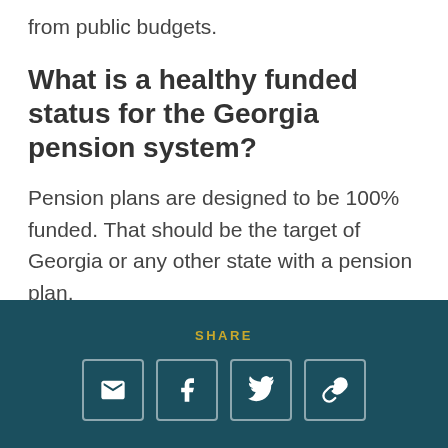from public budgets.
What is a healthy funded status for the Georgia pension system?
Pension plans are designed to be 100% funded. That should be the target of Georgia or any other state with a pension plan.
Why? The whole point of setting up a pension fund in the first place is to put
SHARE